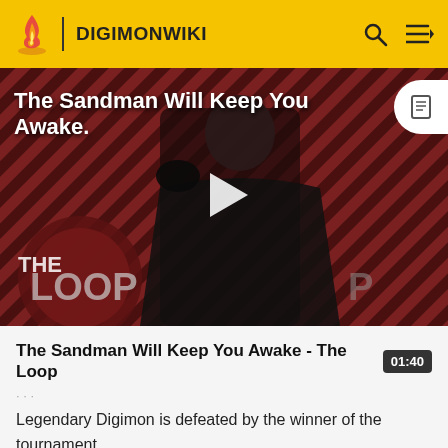DIGIMONWIKI
[Figure (screenshot): Video thumbnail showing a figure in a black cloak against a striped dark red background, with 'THE LOOP' text overlay and a play button. Title reads 'The Sandman Will Keep You Awake.']
The Sandman Will Keep You Awake - The Loop
01:40
Legendary Digimon is defeated by the winner of the tournament.
Mihiroshi Mountain